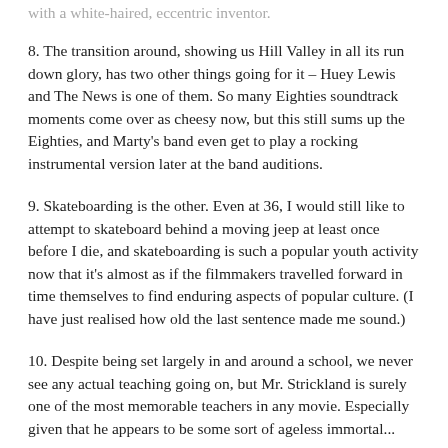with a white-haired, eccentric inventor.
8. The transition around, showing us Hill Valley in all its run down glory, has two other things going for it – Huey Lewis and The News is one of them. So many Eighties soundtrack moments come over as cheesy now, but this still sums up the Eighties, and Marty's band even get to play a rocking instrumental version later at the band auditions.
9. Skateboarding is the other. Even at 36, I would still like to attempt to skateboard behind a moving jeep at least once before I die, and skateboarding is such a popular youth activity now that it's almost as if the filmmakers travelled forward in time themselves to find enduring aspects of popular culture. (I have just realised how old the last sentence made me sound.)
10. Despite being set largely in and around a school, we never see any actual teaching going on, but Mr. Strickland is surely one of the most memorable teachers in any movie. Especially given that he appears to be some sort of ageless immortal...
11. Marty is the perfect avatar for the audience, to use today's parlance. He's a middle-America lad with aspirations of his own truck and allowing his band to be successful – aspirations that pretty much